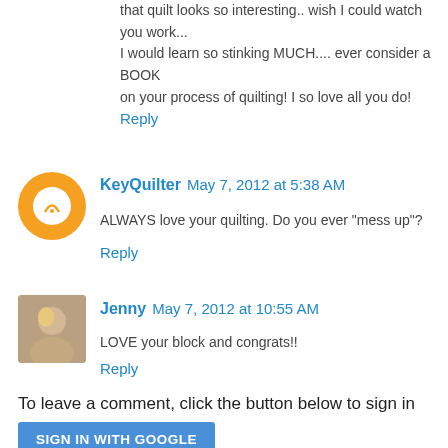that quilt looks so interesting.. wish I could watch you work... I would learn so stinking MUCH.... ever consider a BOOK on your process of quilting! I so love all you do!
Reply
KeyQuilter  May 7, 2012 at 5:38 AM
ALWAYS love your quilting. Do you ever "mess up"?
Reply
Jenny  May 7, 2012 at 10:55 AM
LOVE your block and congrats!!
Reply
To leave a comment, click the button below to sign in with Google.
SIGN IN WITH GOOGLE